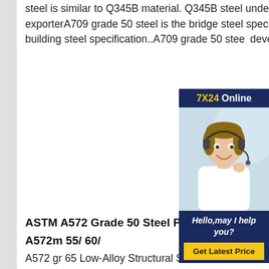steel is similar to Q345B material. Q345B steel under sa572 grade 50 steel sheet china exporterA709 grade 50 steel is the bridge steel specification and A572 grade 50 steel is the building steel specification..A709 grade 50 steel deveoped for
[Figure (other): Customer service advertisement widget with dark blue background showing '7X24 Online' header text in yellow/white, a photo of a woman with a headset smiling, text 'Hello,may I help you?' and a yellow 'Get Latest Price' button.]
ASTM A572 Grade 50 Steel Pla...
A572m 55/ 60/
A572 gr 65 Low-Alloy Structural S... Plates and ASTM A572m Sheet s... in India astm a572 grade 50 is useful in making buildings, construction, bridges Approval By Third Party ABS, DNV, GL, CCS, LR , RINA, KR, TUV, CE Grade A572 Grade 50 A572 Structural, Carbon & HSLA Steel Plate - Chapel SteelASTM A572...